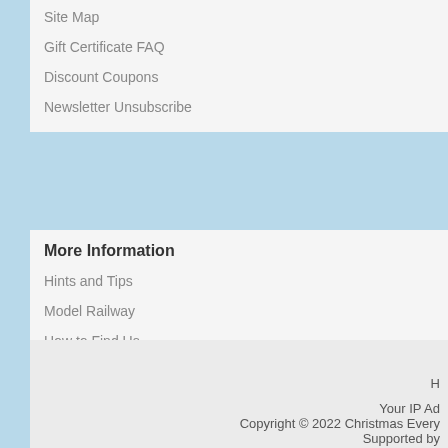Site Map
Gift Certificate FAQ
Discount Coupons
Newsletter Unsubscribe
More Information
Hints and Tips
Model Railway
How to Find Us
Who's Online
There currently are 14 guests online.
Ho
Your IP Ad
Copyright © 2022 Christmas Every
Supported by